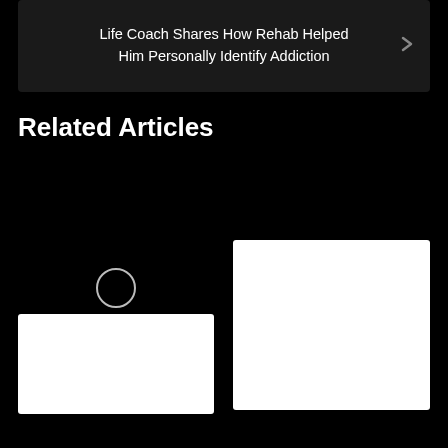Life Coach Shares How Rehab Helped Him Personally Identify Addiction
Related Articles
[Figure (other): Loading spinner circle icon for left article card]
[Figure (photo): White image placeholder for left related article]
[Figure (photo): White image placeholder for right related article]